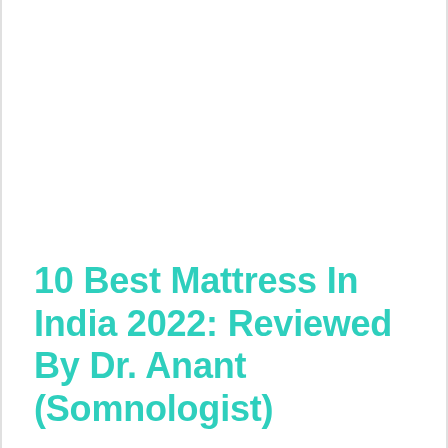10 Best Mattress In India 2022: Reviewed By Dr. Anant (Somnologist)